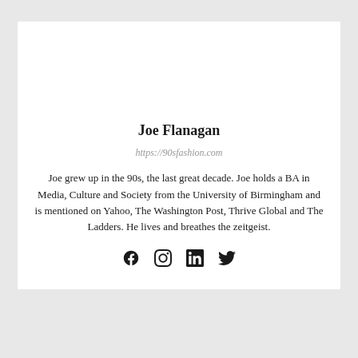Joe Flanagan
https://90sfashion.com
Joe grew up in the 90s, the last great decade. Joe holds a BA in Media, Culture and Society from the University of Birmingham and is mentioned on Yahoo, The Washington Post, Thrive Global and The Ladders. He lives and breathes the zeitgeist.
[Figure (illustration): Social media icons: Facebook, Instagram, LinkedIn, Twitter]